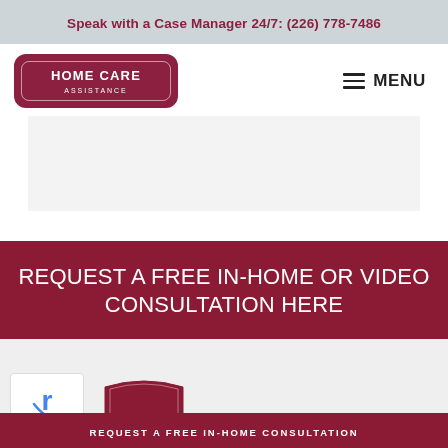Speak with a Case Manager 24/7: (226) 778-7486
[Figure (logo): Home Care Assistance logo badge in dark red/maroon with white text]
≡ MENU
[Figure (other): Content image area placeholder]
REQUEST A FREE IN-HOME OR VIDEO CONSULTATION HERE
[Figure (logo): reCAPTCHA logo in blue]
[Figure (logo): Home Care Assistance shield badge logo in maroon]
REQUEST A FREE IN-HOME CONSULTATION